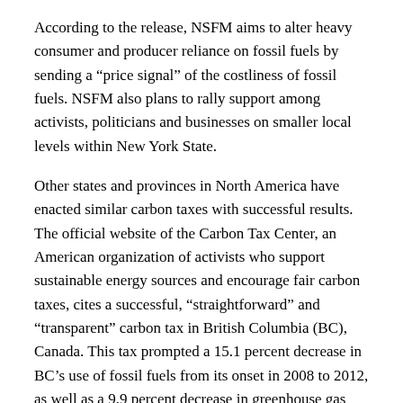According to the release, NSFM aims to alter heavy consumer and producer reliance on fossil fuels by sending a “price signal” of the costliness of fossil fuels. NSFM also plans to rally support among activists, politicians and businesses on smaller local levels within New York State.
Other states and provinces in North America have enacted similar carbon taxes with successful results. The official website of the Carbon Tax Center, an American organization of activists who support sustainable energy sources and encourage fair carbon taxes, cites a successful, “straightforward” and “transparent” carbon tax in British Columbia (BC), Canada. This tax prompted a 15.1 percent decrease in BC’s use of fossil fuels from its onset in 2008 to 2012, as well as a 9.9 percent decrease in greenhouse gas emissions from 2008 to 2010, according to the Carbon Tax Center.
Despite this global push for sustainable energy sources and green solutions to climate change, many Americans only support such tax increases on conditional terms. An article from the Los Angeles Times cited a study from Muhlenberg College in Pennsylvania, which discovered that “the idea of a carbon tax…